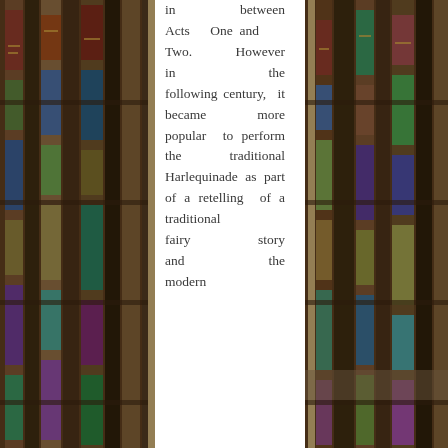[Figure (photo): Background photograph of rows of old books on wooden library shelves, visible on the left and right sides of the page flanking a central white text column.]
in between Acts One and Two. However in the following century, it became more popular to perform the traditional Harlequinade as part of a retelling of a traditional fairy story and the modern